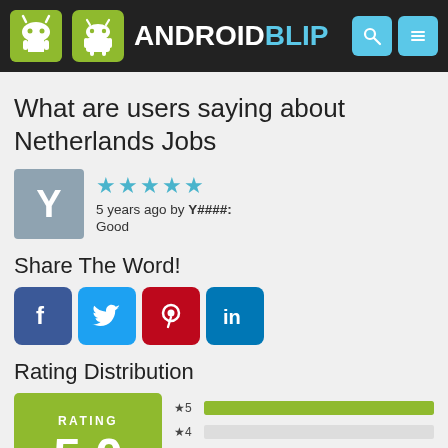ANDROIDBLIP
What are users saying about Netherlands Jobs
5 years ago by Y####:
Good
Share The Word!
[Figure (infographic): Social share buttons: Facebook, Twitter, Pinterest, LinkedIn]
Rating Distribution
[Figure (bar-chart): Rating Distribution]